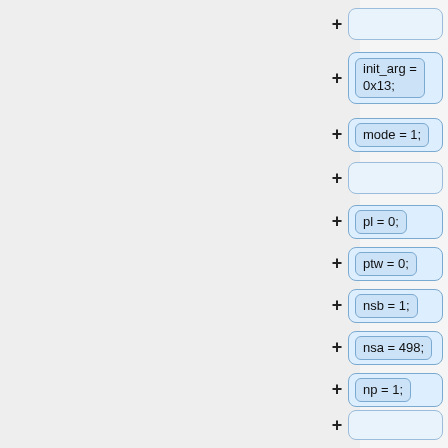[Figure (flowchart): A vertical list of diff/tree nodes on the right side of the page, each with a '+' expand button and a label box containing code assignment statements. Nodes include: (empty), init_arg = 0x13;, mode = 1;, (empty), pl = 0;, ptw = 0;, nsb = 1;, nsa = 498;, np = 1;, (empty), delay8 = 0;, delay9 = 0;]